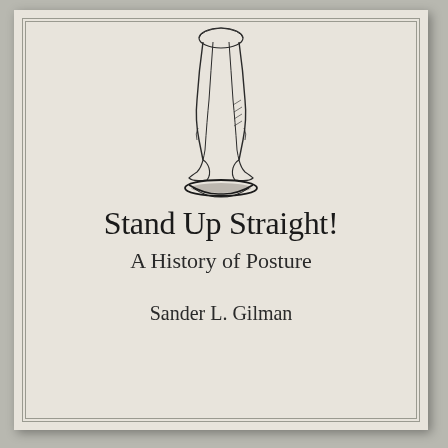[Figure (illustration): Line drawing illustration of a person standing upright, showing legs and lower torso from approximately waist down, with a shadow beneath the feet. The figure is drawn in a vintage engraving style.]
Stand Up Straight!
A History of Posture
Sander L. Gilman